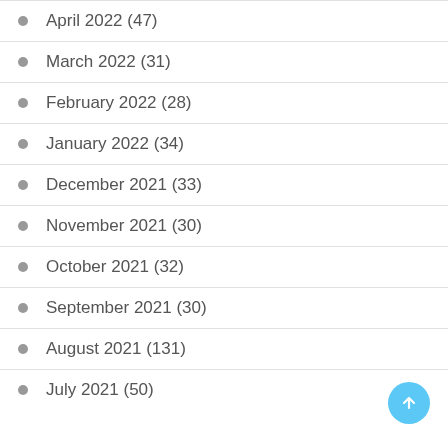April 2022 (47)
March 2022 (31)
February 2022 (28)
January 2022 (34)
December 2021 (33)
November 2021 (30)
October 2021 (32)
September 2021 (30)
August 2021 (131)
July 2021 (50)